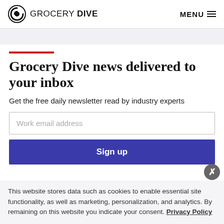GROCERY DIVE | MENU
Grocery Dive news delivered to your inbox
Get the free daily newsletter read by industry experts
Work email address
Sign up
This website stores data such as cookies to enable essential site functionality, as well as marketing, personalization, and analytics. By remaining on this website you indicate your consent. Privacy Policy